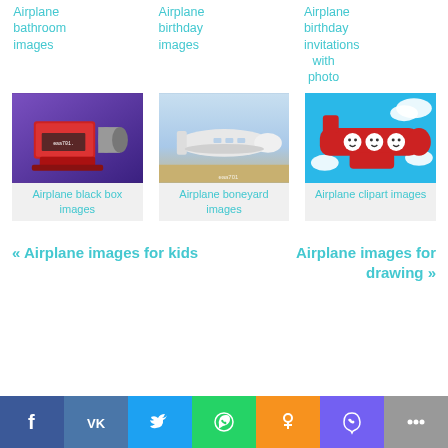Airplane bathroom images
Airplane birthday images
Airplane birthday invitations with photo
[Figure (photo): Red airplane black box device on purple background]
[Figure (photo): Commercial airplane on tarmac at airport, eaa701 watermark]
[Figure (illustration): Cartoon red airplane clipart with smiley face windows on blue sky background]
Airplane black box images
Airplane boneyard images
Airplane clipart images
« Airplane images for kids
Airplane images for drawing »